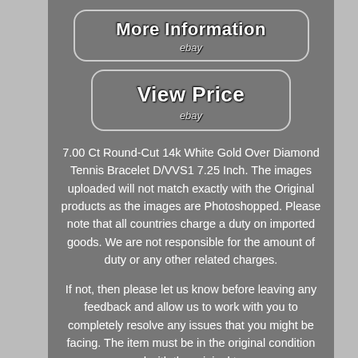[Figure (screenshot): eBay button: More Information with ebay label, rounded rectangle border]
[Figure (screenshot): eBay button: View Price with ebay label, rounded rectangle border]
7.00 Ct Round-Cut 14k White Gold Over Diamond Tennis Bracelet D/VVS1 7.25 Inch. The images uploaded will not match exactly with the Original products as the images are Photoshopped. Please note that all countries charge a duty on imported goods. We are not responsible for the amount of duty or any other related charges.
If not, then please let us know before leaving any feedback and allow us to work with you to completely resolve any issues that you might be facing. The item must be in the original condition and with the original tags